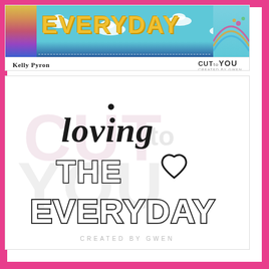[Figure (illustration): Top banner showing colorful EVERYDAY book/product cover illustration with teal sky, clouds, rainbow, bird, and yellow block letter text 'EVERYDAY'. Author credit 'Kelly Pyron' and brand logo 'CUT to YOU' shown below the illustration.]
[Figure (illustration): Product card showing a die-cut word art piece with text 'loving THE♡ EVERYDAY' in mixed script and block lettering, black outline style. Watermark 'CUT to YOU' and 'CREATED BY GWEN' visible in background.]